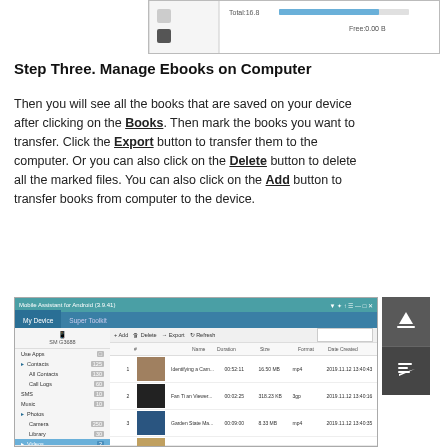[Figure (screenshot): Top portion of a software screenshot showing a device storage bar with Total and Free values]
Step Three. Manage Ebooks on Computer
Then you will see all the books that are saved on your device after clicking on the Books. Then mark the books you want to transfer. Click the Export button to transfer them to the computer. Or you can also click on the Delete button to delete all the marked files. You can also click on the Add button to transfer books from computer to the device.
[Figure (screenshot): Mobile Assistant for Android software window showing My Device tab with Videos section selected, displaying a list of video files with thumbnails, duration, size, format, and date created columns. Toolbar shows Add, Delete, Export, Refresh buttons. WiFi Connected button visible top right.]